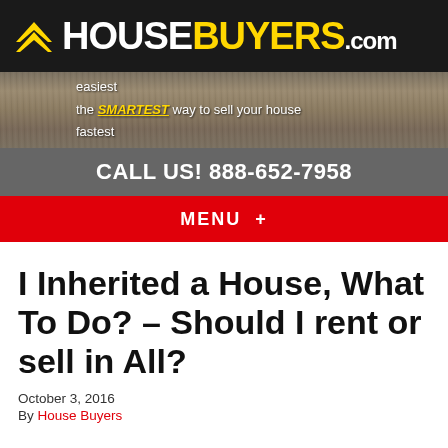HOUSEBUYERS.com
easiest
the SMARTEST way to sell your house
fastest
CALL US! 888-652-7958
MENU +
I Inherited a House, What To Do? – Should I rent or sell in All?
October 3, 2016
By House Buyers